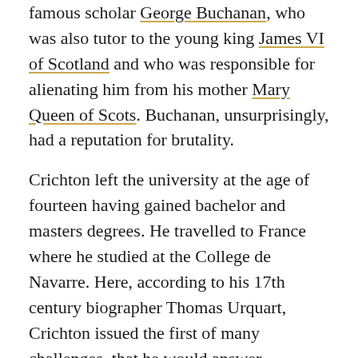famous scholar George Buchanan, who was also tutor to the young king James VI of Scotland and who was responsible for alienating him from his mother Mary Queen of Scots. Buchanan, unsurprisingly, had a reputation for brutality.
Crichton left the university at the age of fourteen having gained bachelor and masters degrees. He travelled to France where he studied at the College de Navarre. Here, according to his 17th century biographer Thomas Urquart, Crichton issued the first of many challenges, that he would answer questions “in any science, liberal art, discipline, or faculty, whether practical or theoretic”. What’s more, he offered to do so in any one of the twelve languages in which he was proficient!
On this occasion his oratory is said to have drawn the admiration of four professors. While in France, he also